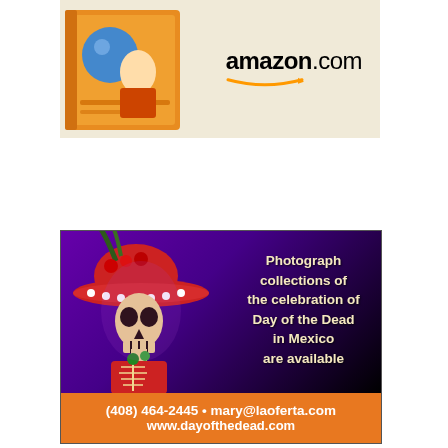[Figure (photo): Amazon.com advertisement showing a colorful book or product with a globe/ball graphic on an orange background, alongside the amazon.com logo with smile]
[Figure (photo): Day of the Dead advertisement featuring a skeleton figure dressed in a large red sombrero hat with a purple background, and text 'Photograph collections of the celebration of Day of the Dead in Mexico are available'. Orange footer bar with contact info: (408) 464-2445 • mary@laoferta.com and www.dayofthedead.com]